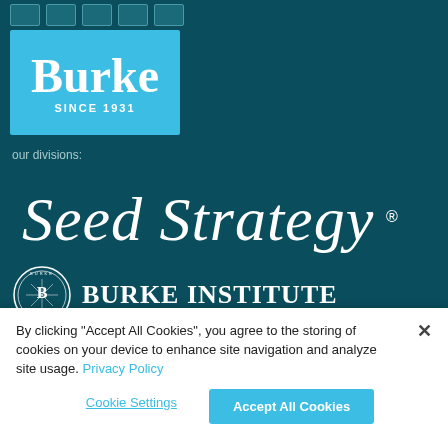Social media icons (email, LinkedIn, etc.)
[Figure (logo): Burke Since 1931 logo — white text on light blue background]
our divisions:
[Figure (logo): Seed Strategy script logo in white cursive text on teal background]
[Figure (logo): Burke Institute logo — circular seal with B compass icon and 'BURKE INSTITUTE' text in white on teal background]
By clicking "Accept All Cookies", you agree to the storing of cookies on your device to enhance site navigation and analyze site usage. Privacy Policy
Cookie Settings
Accept All Cookies